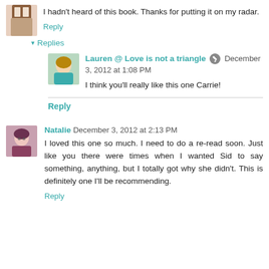I hadn't heard of this book. Thanks for putting it on my radar.
Reply
Replies
Lauren @ Love is not a triangle December 3, 2012 at 1:08 PM
I think you'll really like this one Carrie!
Reply
Natalie December 3, 2012 at 2:13 PM
I loved this one so much. I need to do a re-read soon. Just like you there were times when I wanted Sid to say something, anything, but I totally got why she didn't. This is definitely one I'll be recommending.
Reply